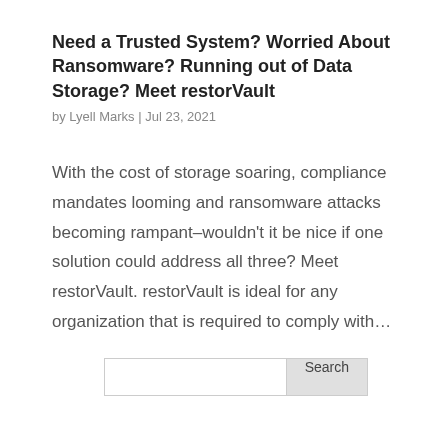Need a Trusted System? Worried About Ransomware? Running out of Data Storage? Meet restorVault
by Lyell Marks  |  Jul 23, 2021
With the cost of storage soaring, compliance mandates looming and ransomware attacks becoming rampant–wouldn't it be nice if one solution could address all three? Meet restorVault. restorVault is ideal for any organization that is required to comply with…